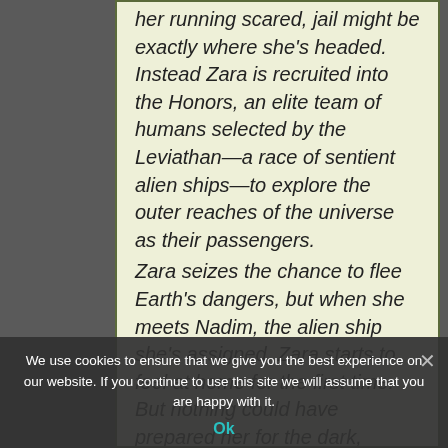her running scared, jail might be exactly where she's headed. Instead Zara is recruited into the Honors, an elite team of humans selected by the Leviathan—a race of sentient alien ships—to explore the outer reaches of the universe as their passengers.

Zara seizes the chance to flee Earth's dangers, but when she meets Nadim, the alien ship she's assigned, Zara starts to feel at home for the first time. But nothing could have prepared her for the dark, ominous truth that lurk behind the alluring glitter of starlight.
We use cookies to ensure that we give you the best experience on our website. If you continue to use this site we will assume that you are happy with it.
Ok